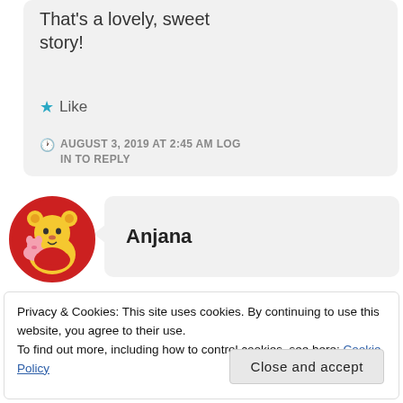That's a lovely, sweet story!
★ Like
AUGUST 3, 2019 AT 2:45 AM LOG IN TO REPLY
Anjana
Privacy & Cookies: This site uses cookies. By continuing to use this website, you agree to their use.
To find out more, including how to control cookies, see here: Cookie Policy
Close and accept